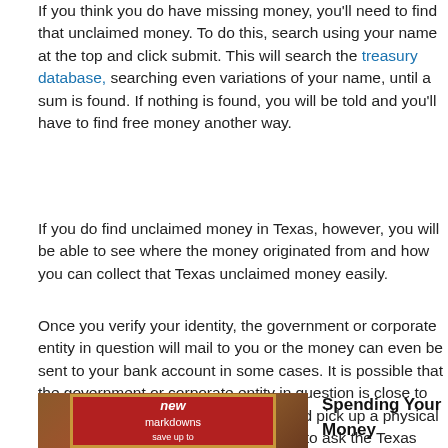If you think you do have missing money, you'll need to find that unclaimed money. To do this, search using your name at the top and click submit. This will search the texas treasury database, searching even variations of your name, until a sum is found. If nothing is found, you will be told and you'll have to find free money another way.
If you do find unclaimed money in Texas, however, you will be able to see where the money originated from and how you can collect that Texas unclaimed money easily.
Once you verify your identity, the government or corporate entity in question will mail to you or the money can even be sent to your bank account in some cases. It is possible that the government or corporate entity in question is close to your home and you can travel there and pick up a physical check. This is something you will have to ask the Texas unclaimed money officials when you contact that about the sum.
[Figure (photo): Photo of a retail sale sign showing 'new markdowns save up to 60%' with a red sign framed in wood]
Spending Your Money
Once you have found unclaimed money, you are now part of a special group that have lost money only to gloriously find it again. You now